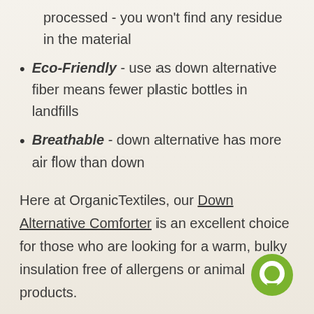processed - you won't find any residue in the material
Eco-Friendly - use as down alternative fiber means fewer plastic bottles in landfills
Breathable - down alternative has more air flow than down
Here at OrganicTextiles, our Down Alternative Comforter is an excellent choice for those who are looking for a warm, bulky insulation free of allergens or animal products.